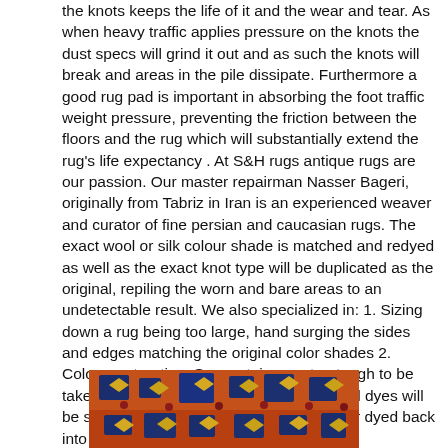the knots keeps the life of it and the wear and tear. As when heavy traffic applies pressure on the knots the dust specs will grind it out and as such the knots will break and areas in the pile dissipate. Furthermore a good rug pad is important in absorbing the foot traffic weight pressure, preventing the friction between the floors and the rug which will substantially extend the rug's life expectancy . At S&H rugs antique rugs are our passion. Our master repairman Nasser Bageri, originally from Tabriz in Iran is an experienced weaver and curator of fine persian and caucasian rugs. The exact wool or silk colour shade is matched and redyed as well as the exact knot type will be duplicated as the original, repiling the worn and bare areas to an undetectable result. We also specialized in: 1. Sizing down a rug being too large, hand surging the sides and edges matching the original color shades 2. Colour restoration. Some stains are too tough to be taken out with regular washing. The original dyes will be stripped out and then the original ,colour dyed back into the yarn to an undetectable result
[Figure (photo): Close-up photograph of a colorful antique rug showing intricate geometric patterns in orange, blue, yellow and red colors]